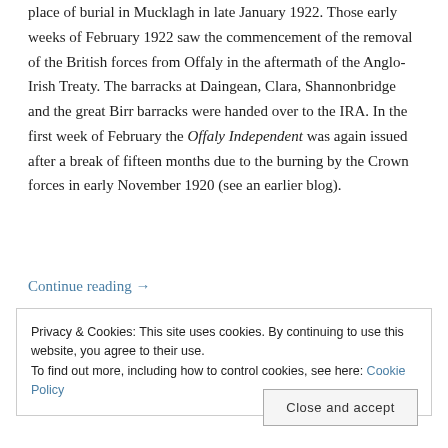place of burial in Mucklagh in late January 1922. Those early weeks of February 1922 saw the commencement of the removal of the British forces from Offaly in the aftermath of the Anglo-Irish Treaty. The barracks at Daingean, Clara, Shannonbridge and the great Birr barracks were handed over to the IRA. In the first week of February the Offaly Independent was again issued after a break of fifteen months due to the burning by the Crown forces in early November 1920 (see an earlier blog).
Continue reading →
Privacy & Cookies: This site uses cookies. By continuing to use this website, you agree to their use.
To find out more, including how to control cookies, see here: Cookie Policy
Close and accept